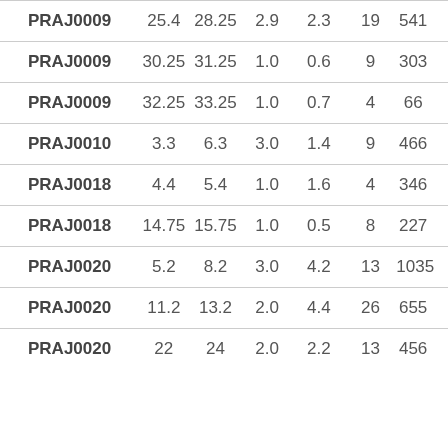| PRAJ0009 | 25.4 | 28.25 | 2.9 | 2.3 | 19 | 541 |
| PRAJ0009 | 30.25 | 31.25 | 1.0 | 0.6 | 9 | 303 |
| PRAJ0009 | 32.25 | 33.25 | 1.0 | 0.7 | 4 | 66 |
| PRAJ0010 | 3.3 | 6.3 | 3.0 | 1.4 | 9 | 466 |
| PRAJ0018 | 4.4 | 5.4 | 1.0 | 1.6 | 4 | 346 |
| PRAJ0018 | 14.75 | 15.75 | 1.0 | 0.5 | 8 | 227 |
| PRAJ0020 | 5.2 | 8.2 | 3.0 | 4.2 | 13 | 1035 |
| PRAJ0020 | 11.2 | 13.2 | 2.0 | 4.4 | 26 | 655 |
| PRAJ0020 | 22 | 24 | 2.0 | 2.2 | 13 | 456 |